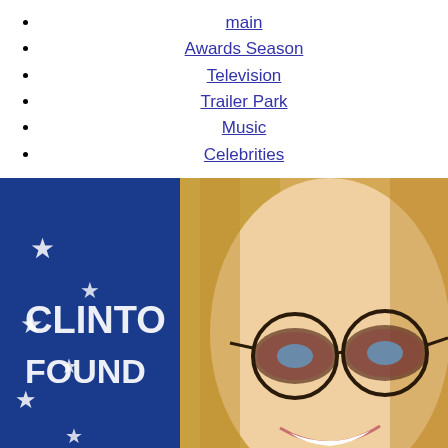main
Awards Season
Television
Trailer Park
Music
Celebrities
[Figure (photo): Close-up photo of a blonde woman with small oval tinted glasses, smiling, in front of a blue Clinton Foundation banner with white stars]